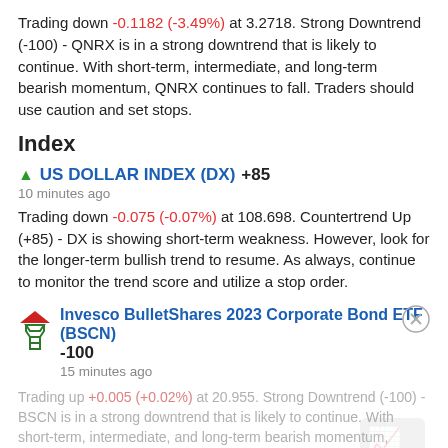Trading down -0.1182 (-3.49%) at 3.2718. Strong Downtrend (-100) - QNRX is in a strong downtrend that is likely to continue. With short-term, intermediate, and long-term bearish momentum, QNRX continues to fall. Traders should use caution and set stops.
Index
▲ US DOLLAR INDEX (DX) +85
10 minutes ago
Trading down -0.075 (-0.07%) at 108.698. Countertrend Up (+85) - DX is showing short-term weakness. However, look for the longer-term bullish trend to resume. As always, continue to monitor the trend score and utilize a stop order.
Invesco BulletShares 2023 Corporate Bond ETF (BSCN) -100
15 minutes ago
Trading up +0.005 (+0.02%) at 20.955. Strong Downtrend (-100) - BSCN is in a strong downtrend that is likely to continue. With short-term, intermediate, and long-term bearish momentum, BSCN continues to fall. Traders should use caution and set stops.